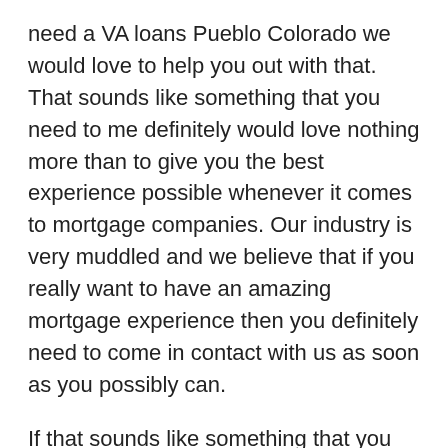need a VA loans Pueblo Colorado we would love to help you out with that. That sounds like something that you need to me definitely would love nothing more than to give you the best experience possible whenever it comes to mortgage companies. Our industry is very muddled and we believe that if you really want to have an amazing mortgage experience then you definitely need to come in contact with us as soon as you possibly can.
If that sounds like something that you want then we would love nothing more than for you to get your VA loans Pueblo Colorado with us. So if you are next military and you need a home loan we would love to help. We also want you to hear from some of our amazing you will reviews which places us as a five-star company with over 90 different reviews. So if that sounds amazing we would love for you to hear a little bit more about how amazing our company is and why we believe our company is a five star companies